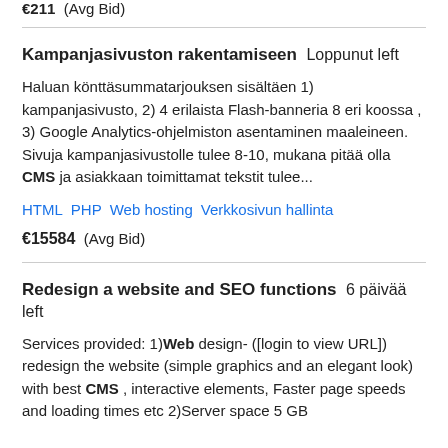€211  (Avg Bid)
Kampanjasivuston rakentamiseen  Loppunut left
Haluan könttäsummatarjouksen sisältäen 1) kampanjasivusto, 2) 4 erilaista Flash-banneria 8 eri koossa , 3) Google Analytics-ohjelmiston asentaminen maaleineen. Sivuja kampanjasivustolle tulee 8-10, mukana pitää olla CMS ja asiakkaan toimittamat tekstit tulee...
HTML   PHP   Web hosting   Verkkosivun hallinta
€15584  (Avg Bid)
Redesign a website and SEO functions  6 päivää left
Services provided: 1)Web design- ([login to view URL]) redesign the website (simple graphics and an elegant look) with best CMS , interactive elements, Faster page speeds and loading times etc 2)Server space 5 GB